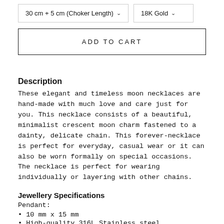[Figure (screenshot): Dropdown selector showing '30 cm + 5 cm (Choker Length)' with chevron]
[Figure (screenshot): Dropdown selector showing '18K Gold' with chevron]
ADD TO CART
Description
These elegant and timeless moon necklaces are hand-made with much love and care just for you. This necklace consists of a beautiful, minimalist crescent moon charm fastened to a dainty, delicate chain. This forever-necklace is perfect for everyday, casual wear or it can also be worn formally on special occasions. The necklace is perfect for wearing individually or layering with other chains.
Jewellery Specifications
Pendant:
10 mm x 15 mm
High-quality 316L Stainless steel